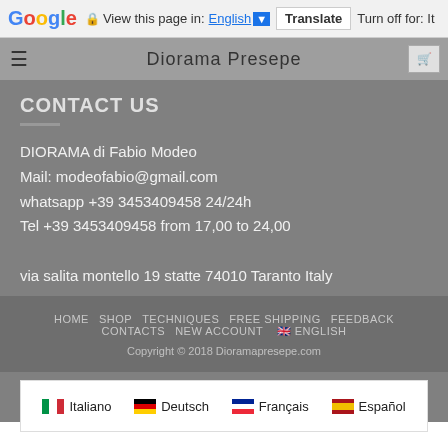Google  View this page in: English  Translate  Turn off for: It
[Figure (screenshot): Website navigation bar showing 'Diorama Presepe' title with hamburger menu icon on left and cart icon on right]
CONTACT US
DIORAMA di Fabio Modeo
Mail: modeofabio@gmail.com
whatsapp +39 3453409458 24/24h
Tel +39 3453409458 from 17,00 to 24,00

via salita montello 19 statte 74010 Taranto Italy
HOME  SHOP  TECHNIQUES  FREE SHIPPING  FEEDBACK  CONTACTS  NEW ACCOUNT  ENGLISH
Copyright © 2018 Dioramapresepe.com
[Figure (infographic): Language selection bar with flags: Italian flag - Italiano, German flag - Deutsch, French flag - Français, Spanish flag - Español]